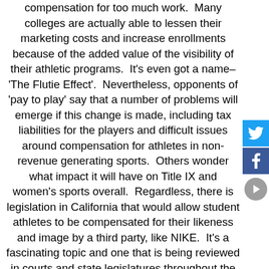compensation for too much work.  Many colleges are actually able to lessen their marketing costs and increase enrollments because of the added value of the visibility of their athletic programs.  It's even got a name– 'The Flutie Effect'.  Nevertheless, opponents of 'pay to play' say that a number of problems will emerge if this change is made, including tax liabilities for the players and difficult issues around compensation for athletes in non-revenue generating sports.  Others wonder what impact it will have on Title IX and women's sports overall.  Regardless, there is legislation in California that would allow student athletes to be compensated for their likeness and image by a third party, like NIKE.  It's a fascinating topic and one that is being reviewed in courts and state legislatures throughout the country.  Attorney Marc Edelman, specializes in sports law and is a tenured Professor of Law at the Zicklin School of Business